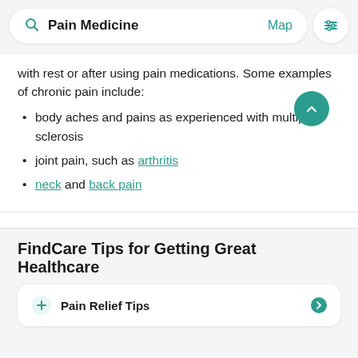[Figure (screenshot): Search bar with 'Pain Medicine' text and 'Map' link, plus a filter icon button]
with rest or after using pain medications. Some examples of chronic pain include:
body aches and pains as experienced with multiple sclerosis
joint pain, such as arthritis
neck and back pain
View all FAQs  ∨
FindCare Tips for Getting Great Healthcare
Pain Relief Tips (card stub)